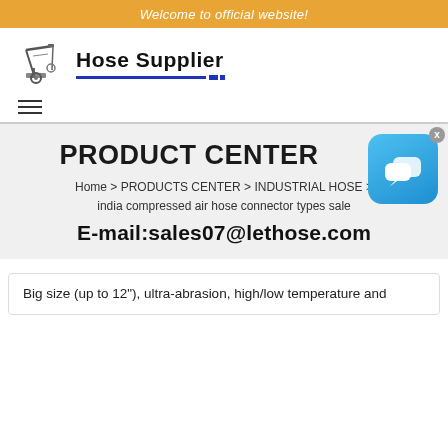Welcome to official website!
[Figure (logo): Hose Supplier company logo with mechanical/industrial equipment icon and bold brand name 'Hose Supplier' with blue underline]
PRODUCT CENTER
Home > PRODUCTS CENTER > INDUSTRIAL HOSE > india compressed air hose connector types sale
E-mail:sales07@lethose.com
Big size (up to 12"), ultra-abrasion, high/low temperature and